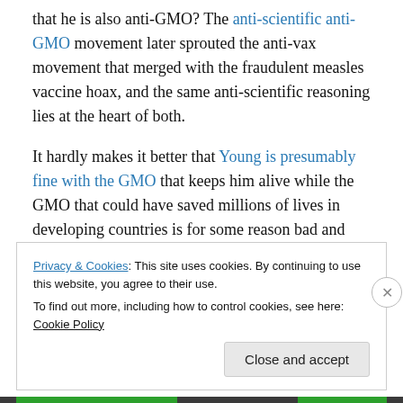that he is also anti-GMO? The anti-scientific anti-GMO movement later sprouted the anti-vax movement that merged with the fraudulent measles vaccine hoax, and the same anti-scientific reasoning lies at the heart of both.
It hardly makes it better that Young is presumably fine with the GMO that keeps him alive while the GMO that could have saved millions of lives in developing countries is for some reason bad and evil.
Keep on rockin' in the free world
Privacy & Cookies: This site uses cookies. By continuing to use this website, you agree to their use.
To find out more, including how to control cookies, see here: Cookie Policy